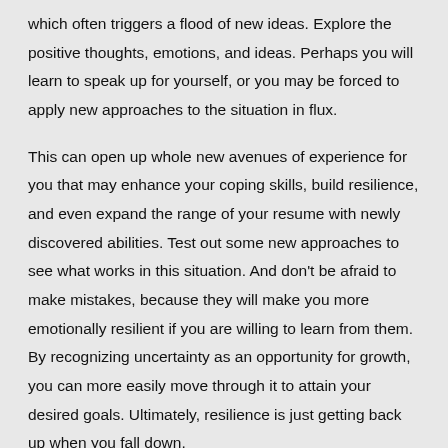which often triggers a flood of new ideas. Explore the positive thoughts, emotions, and ideas. Perhaps you will learn to speak up for yourself, or you may be forced to apply new approaches to the situation in flux.
This can open up whole new avenues of experience for you that may enhance your coping skills, build resilience, and even expand the range of your resume with newly discovered abilities. Test out some new approaches to see what works in this situation. And don't be afraid to make mistakes, because they will make you more emotionally resilient if you are willing to learn from them. By recognizing uncertainty as an opportunity for growth, you can more easily move through it to attain your desired goals. Ultimately, resilience is just getting back up when you fall down.
4. Step back to gain a broader perspective.